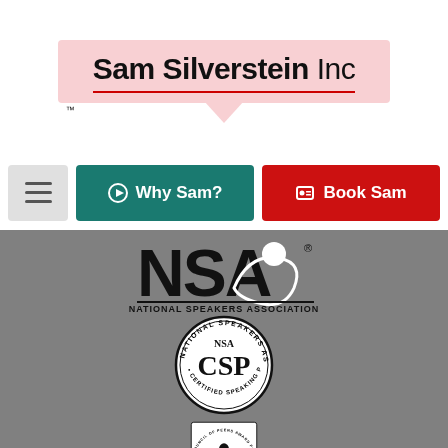[Figure (logo): Sam Silverstein Inc logo with pink background box, red underline, speech bubble arrow, and TM mark]
[Figure (screenshot): Navigation bar with hamburger menu, Why Sam? teal button with play icon, and Book Sam red button with contact card icon]
[Figure (logo): NSA National Speakers Association logo in black and white on gray background]
[Figure (logo): NSA CSP Certified Speaking Professional circular badge seal]
[Figure (logo): Council of Peers Award for Excellence Speaker Hall of Fame circular badge seal, partially visible]